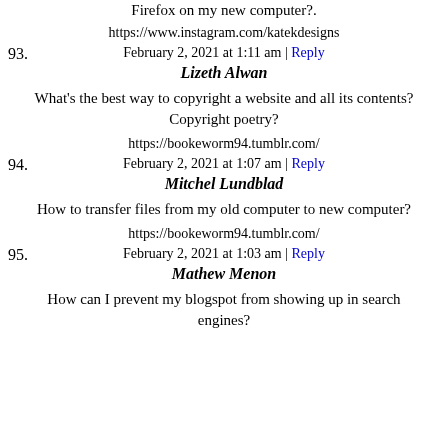Firefox on my new computer?.
https://www.instagram.com/katekdesigns
February 2, 2021 at 1:11 am | Reply
93. Lizeth Alwan
What's the best way to copyright a website and all its contents? Copyright poetry?
https://bookeworm94.tumblr.com/
February 2, 2021 at 1:07 am | Reply
94. Mitchel Lundblad
How to transfer files from my old computer to new computer?
https://bookeworm94.tumblr.com/
February 2, 2021 at 1:03 am | Reply
95. Mathew Menon
How can I prevent my blogspot from showing up in search engines?